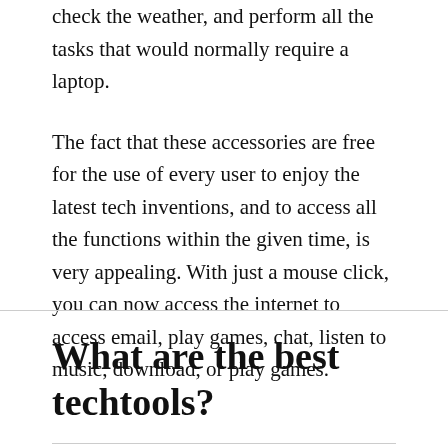check the weather, and perform all the tasks that would normally require a laptop.
The fact that these accessories are free for the use of every user to enjoy the latest tech inventions, and to access all the functions within the given time, is very appealing. With just a mouse click, you can now access the internet to access email, play games, chat, listen to music, download, or play games.
What are the best techtools?
BENJAMIN GILBERT / JANUARY 28, 2020